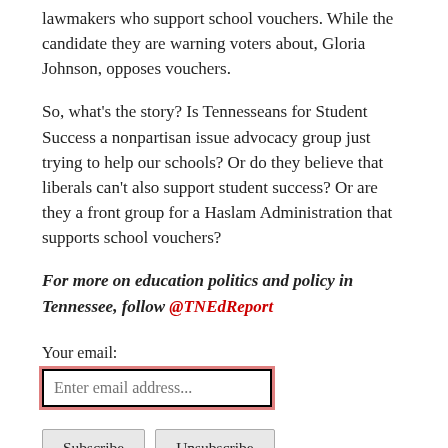lawmakers who support school vouchers. While the candidate they are warning voters about, Gloria Johnson, opposes vouchers.
So, what's the story? Is Tennesseans for Student Success a nonpartisan issue advocacy group just trying to help our schools? Or do they believe that liberals can't also support student success? Or are they a front group for a Haslam Administration that supports school vouchers?
For more on education politics and policy in Tennessee, follow @TNEdReport
Your email:
Enter email address...
Subscribe  Unsubscribe